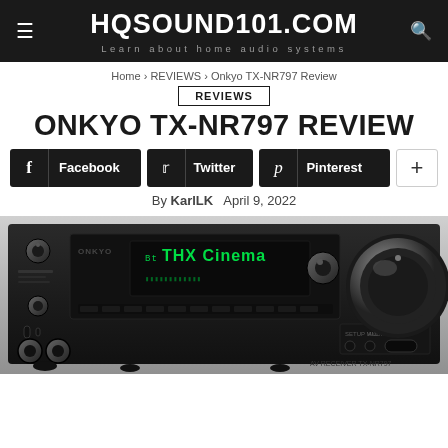HQSOUND101.COM — Learn about home audio systems
Home > REVIEWS > Onkyo TX-NR797 Review
REVIEWS
ONKYO TX-NR797 REVIEW
Facebook  Twitter  Pinterest  +
By KarlLK   April 9, 2022
[Figure (photo): Front view of the Onkyo TX-NR797 AV receiver in black, displaying 'THX Cinema' on its green LED screen, with large volume knob on the right side.]